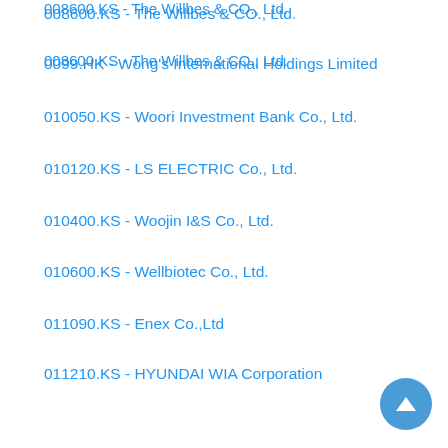008600.KS - The Willbes & CO., Ltd.
0099.HK - Wong's International Holdings Limited
010050.KS - Woori Investment Bank Co., Ltd.
010120.KS - LS ELECTRIC Co., Ltd.
010400.KS - Woojin I&S Co., Ltd.
010600.KS - Wellbiotec Co., Ltd.
011090.KS - Enex Co.,Ltd
011210.KS - HYUNDAI WIA Corporation
012620.KQ - Wonil Special Steel Co., Ltd.
0135.HK - Kunlun Energy Company Limited
014190.KQ - Wonik Cube Corp.
0151.HK - Want Want China Holdings Limited